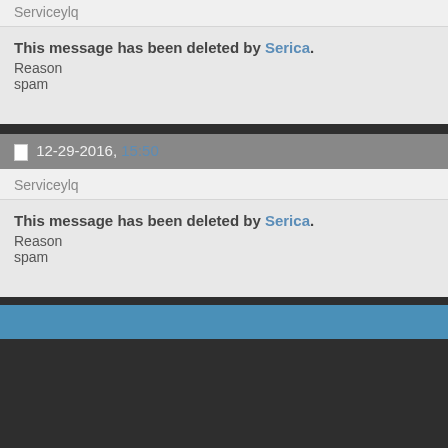Serviceylq
This message has been deleted by Serica.
Reason
spam
12-29-2016, 15:50
Serviceylq
This message has been deleted by Serica.
Reason
spam
« Previou